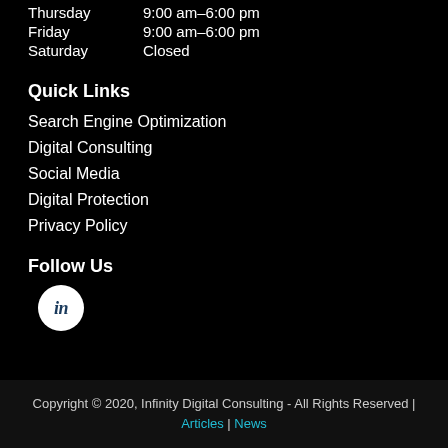Thursday   9:00 am–6:00 pm
Friday   9:00 am–6:00 pm
Saturday   Closed
Quick Links
Search Engine Optimization
Digital Consulting
Social Media
Digital Protection
Privacy Policy
Follow Us
[Figure (logo): LinkedIn icon — white circle with dark 'in' text]
Copyright © 2020, Infinity Digital Consulting - All Rights Reserved | Articles | News